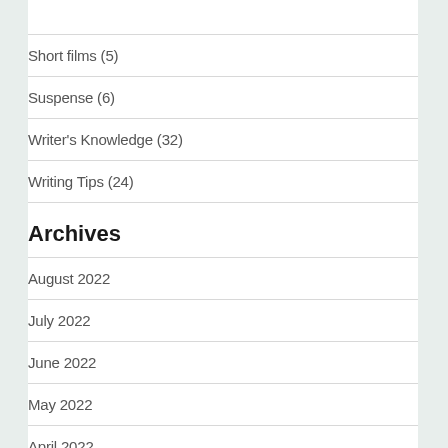Short films (5)
Suspense (6)
Writer's Knowledge (32)
Writing Tips (24)
Archives
August 2022
July 2022
June 2022
May 2022
April 2022
March 2022
February 2022